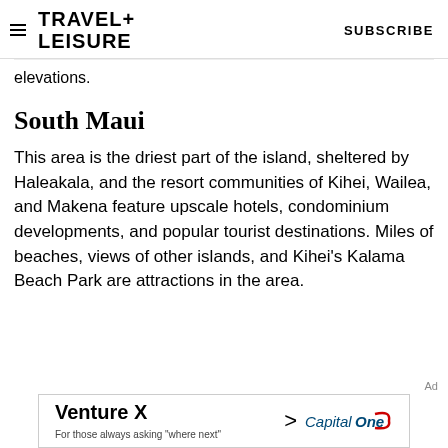TRAVEL+ LEISURE   SUBSCRIBE
elevations.
South Maui
This area is the driest part of the island, sheltered by Haleakala, and the resort communities of Kihei, Wailea, and Makena feature upscale hotels, condominium developments, and popular tourist destinations. Miles of beaches, views of other islands, and Kihei’s Kalama Beach Park are attractions in the area.
[Figure (other): Capital One Venture X advertisement banner: 'Venture X > CapitalOne, For those always asking "where next"']